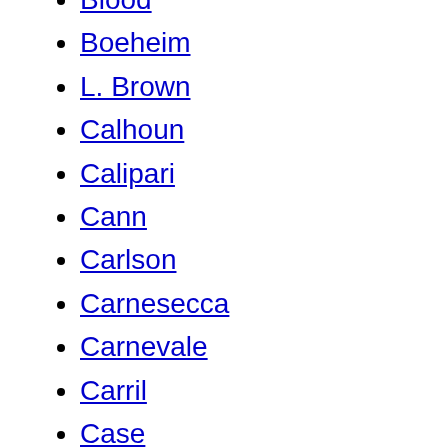Blood
Boeheim
L. Brown
Calhoun
Calipari
Cann
Carlson
Carnesecca
Carnevale
Carril
Case
Chancellor
Chaney
Conradt
Crum
Daly
Dean
Díaz-Miguel
Diddle
Drake
Driesell
Ferrándiz
Fitch
Fitzsimmons
Gaines
Gard